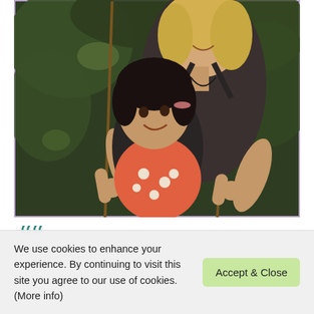[Figure (photo): A woman (adult, dark tank top, blonde hair, laughing) stands behind a young girl (dark hair, coral/orange polka-dot top) who is sitting on a rope swing. The background shows dappled outdoor foliage in a dark, natural setting.]
““
We use cookies to enhance your experience. By continuing to visit this site you agree to our use of cookies. (More info)